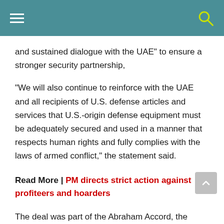[Navigation bar with hamburger menu and search icon]
and sustained dialogue with the UAE” to ensure a stronger security partnership,
“We will also continue to reinforce with the UAE and all recipients of U.S. defense articles and services that U.S.-origin defense equipment must be adequately secured and used in a manner that respects human rights and fully complies with the laws of armed conflict,” the statement said.
Read More | PM directs strict action against profiteers and hoarders
The deal was part of the Abraham Accord, the historic treaty which marked the beginning of peaceful diplomatic